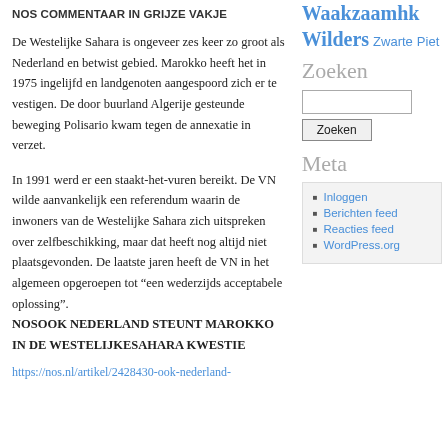Waakzaamheid Wilders Zwarte Piet
NOS COMMENTAAR IN GRIJZE VAKJE
De Westelijke Sahara is ongeveer zes keer zo groot als Nederland en betwist gebied. Marokko heeft het in 1975 ingelijfd en landgenoten aangespoord zich er te vestigen. De door buurland Algerije gesteunde beweging Polisario kwam tegen de annexatie in verzet.
In 1991 werd er een staakt-het-vuren bereikt. De VN wilde aanvankelijk een referendum waarin de inwoners van de Westelijke Sahara zich uitspreken over zelfbeschikking, maar dat heeft nog altijd niet plaatsgevonden. De laatste jaren heeft de VN in het algemeen opgeroepen tot “een wederzijds acceptabele oplossing”. NOSOOK NEDERLAND STEUNT MAROKKO IN DE WESTELIJKESAHARA KWESTIE
https://nos.nl/artikel/2428430-ook-nederland-
Zoeken
Meta
Inloggen
Berichten feed
Reacties feed
WordPress.org